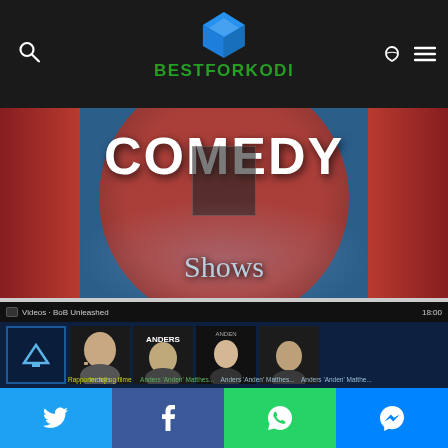[Figure (screenshot): BestForKodi website header with Kodi logo (blue diamond shape) and green BESTFORKODI text, search icon left, moon and menu icons right, dark background]
[Figure (screenshot): Kodi interface showing COMEDY Shows screen with red curtain background and blue teal lower section, white COMEDY text and Shows text]
[Figure (screenshot): Kodi Videos interface showing BoB Unleashed add-on content with thumbnails of Anders Matthesen comedy specials, timestamp 18:00, dark blue background, yellow report link]
[Figure (screenshot): Social sharing bar at bottom with Twitter (blue), Facebook (dark blue), WhatsApp (green), and Messenger (blue) buttons]